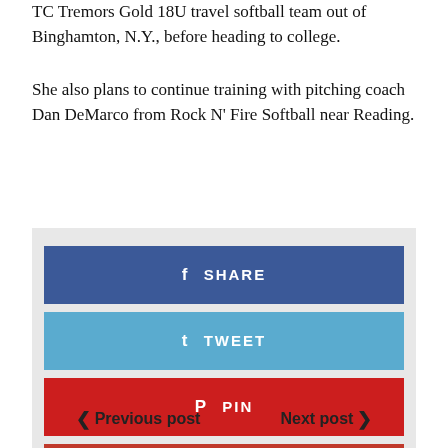TC Tremors Gold 18U travel softball team out of Binghamton, N.Y., before heading to college.
She also plans to continue training with pitching coach Dan DeMarco from Rock N' Fire Softball near Reading.
[Figure (infographic): Social share buttons: Facebook SHARE (blue), Twitter TWEET (light blue), Pinterest PIN (red), Google+ SHARE (dark red)]
< Previous post    Next post >